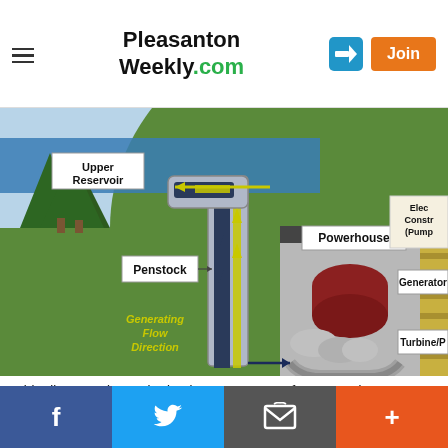Pleasanton Weekly.com
[Figure (engineering-diagram): Diagram of a pumped storage hydropower facility showing upper reservoir, penstock, powerhouse with generator and turbine/pump, and flow direction arrows for both generating and pumping modes. Labels include Upper Reservoir, Penstock, Pumping Flow Direction, Generating Flow Direction, Powerhouse, Generator, and Turbine/P.]
This diagram shows the basic components of a pumped storage hydropower facility (Source: US Dept of Energy).
f  [Twitter bird]  [Email icon]  +